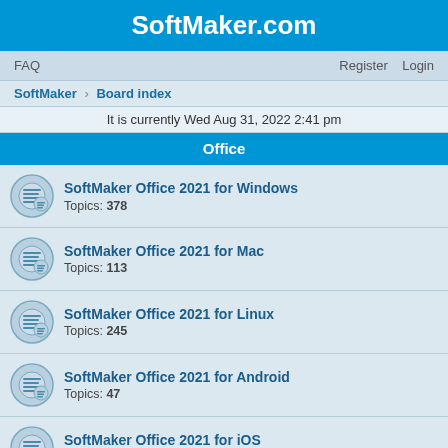SoftMaker.com
FAQ    Register    Login
SoftMaker › Board index
It is currently Wed Aug 31, 2022 2:41 pm
Office
SoftMaker Office 2021 for Windows
Topics: 378
SoftMaker Office 2021 for Mac
Topics: 113
SoftMaker Office 2021 for Linux
Topics: 245
SoftMaker Office 2021 for Android
Topics: 47
SoftMaker Office 2021 for iOS
Topics: 5
SoftMaker Office 2018 for Windows
Topics: 695
SoftMaker Office 2018 for Mac
Topics: 93